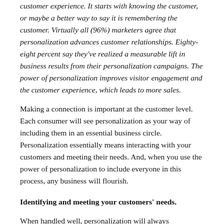customer experience. It starts with knowing the customer, or maybe a better way to say it is remembering the customer. Virtually all (96%) marketers agree that personalization advances customer relationships. Eighty-eight percent say they've realized a measurable lift in business results from their personalization campaigns. The power of personalization improves visitor engagement and the customer experience, which leads to more sales.
Making a connection is important at the customer level. Each consumer will see personalization as your way of including them in an essential business circle. Personalization essentially means interacting with your customers and meeting their needs. And, when you use the power of personalization to include everyone in this process, any business will flourish.
Identifying and meeting your customers' needs.
When handled well, personalization will always